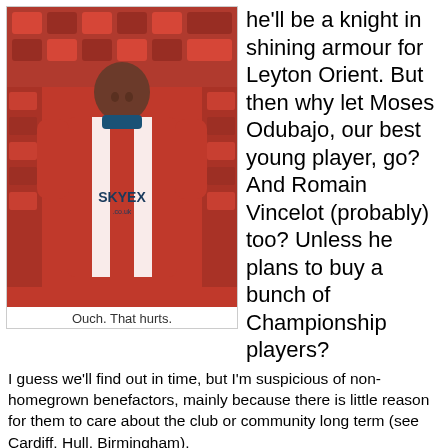[Figure (photo): Young footballer wearing a red and white striped Brentford FC kit with Skyex.co.uk sponsor, sitting in front of red stadium seats]
Ouch. That hurts.
he'll be a knight in shining armour for Leyton Orient. But then why let Moses Odubajo, our best young player, go? And Romain Vincelot (probably) too? Unless he plans to buy a bunch of Championship players?
I guess we'll find out in time, but I'm suspicious of non-homegrown benefactors, mainly because there is little reason for them to care about the club or community long term (see Cardiff, Hull, Birmingham).
That said, Barry Hearn has often stated his desire to walk away if the right buyer came on board, so it remains to be seen if both parties can agree, subject to FA approval.